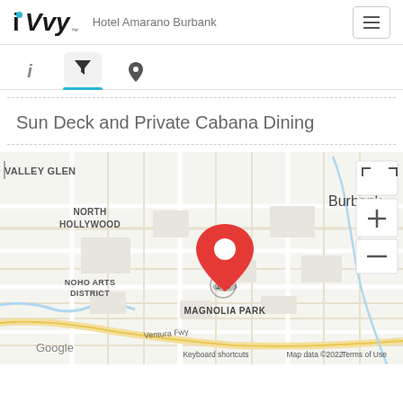iVvy — Hotel Amarano Burbank
[Figure (screenshot): Navigation tab bar with info (i), filter (martini/funnel icon, active with blue underline), and location pin icons]
Sun Deck and Private Cabana Dining
[Figure (map): Google Maps screenshot showing Burbank area with a red location pin over Magnolia Park, North Hollywood, NoHo Arts District, Burbank labeled. Map controls (expand, +, -) on right side. Shows Google logo, Keyboard shortcuts, Map data ©2022, Terms of Use at bottom.]